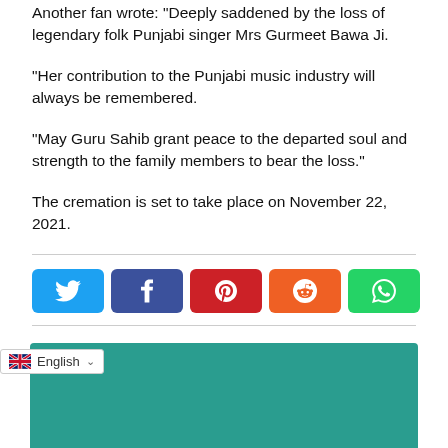Another fan wrote: "Deeply saddened by the loss of legendary folk Punjabi singer Mrs Gurmeet Bawa Ji.
"Her contribution to the Punjabi music industry will always be remembered.
"May Guru Sahib grant peace to the departed soul and strength to the family members to bear the loss."
The cremation is set to take place on November 22, 2021.
[Figure (infographic): Social media share buttons: Twitter (blue), Facebook (dark blue), Pinterest (red), Reddit (orange), WhatsApp (green)]
[Figure (screenshot): Teal/green colored box at the bottom of the page, possibly an advertisement or widget area. A language selector showing English with UK flag is overlaid at the bottom left.]